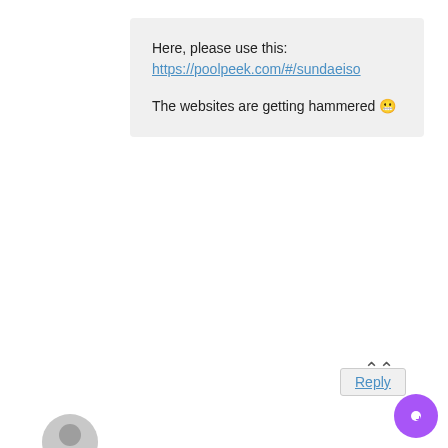Here, please use this:
https://poolpeek.com/#/sundaeiso

The websites are getting hammered 😬
Reply
Case
January 21, 2022 at 11:09 am
hey Peter - great video and thanks for all your help at getting back to everyone with questions!

I have a quick one - so I've delegated to a Sun ISO pool via Yoroi and I'm just wondering once the 25 days is up for the token allocation, and you